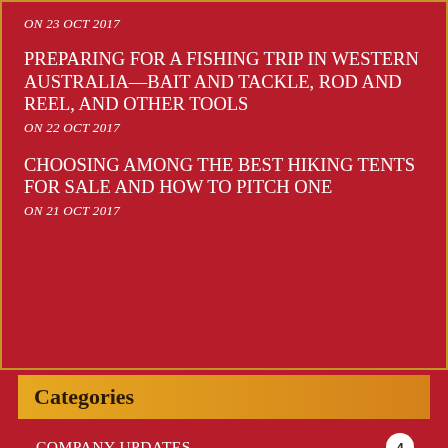ON 23 OCT 2017
PREPARING FOR A FISHING TRIP IN WESTERN AUSTRALIA—BAIT AND TACKLE, ROD AND REEL, AND OTHER TOOLS
ON 22 OCT 2017
CHOOSING AMONG THE BEST HIKING TENTS FOR SALE AND HOW TO PITCH ONE
ON 21 OCT 2017
Categories
COMPANY UPDATES 4
KAYAK FISHING 8